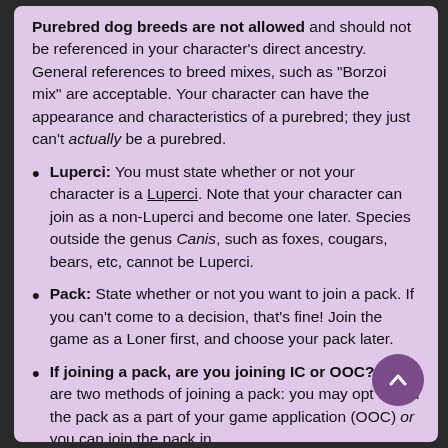Purebred dog breeds are not allowed and should not be referenced in your character's direct ancestry. General references to breed mixes, such as "Borzoi mix" are acceptable. Your character can have the appearance and characteristics of a purebred; they just can't actually be a purebred.
Luperci: You must state whether or not your character is a Luperci. Note that your character can join as a non-Luperci and become one later. Species outside the genus Canis, such as foxes, cougars, bears, etc, cannot be Luperci.
Pack: State whether or not you want to join a pack. If you can't come to a decision, that's fine! Join the game as a Loner first, and choose your pack later.
If joining a pack, are you joining IC or OOC? There are two methods of joining a pack: you may opt to join the pack as a part of your game application (OOC) or you can join the pack in